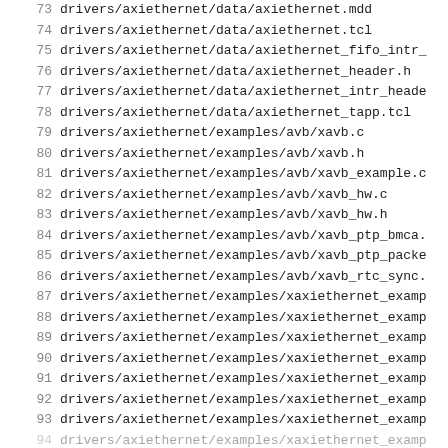73  drivers/axiethernet/data/axiethernet.mdd
74  drivers/axiethernet/data/axiethernet.tcl
75  drivers/axiethernet/data/axiethernet_fifo_intr_
76  drivers/axiethernet/data/axiethernet_header.h
77  drivers/axiethernet/data/axiethernet_intr_heade
78  drivers/axiethernet/data/axiethernet_tapp.tcl
79  drivers/axiethernet/examples/avb/xavb.c
80  drivers/axiethernet/examples/avb/xavb.h
81  drivers/axiethernet/examples/avb/xavb_example.c
82  drivers/axiethernet/examples/avb/xavb_hw.c
83  drivers/axiethernet/examples/avb/xavb_hw.h
84  drivers/axiethernet/examples/avb/xavb_ptp_bmca.
85  drivers/axiethernet/examples/avb/xavb_ptp_packe
86  drivers/axiethernet/examples/avb/xavb_rtc_sync.
87  drivers/axiethernet/examples/xaxiethernet_examp
88  drivers/axiethernet/examples/xaxiethernet_examp
89  drivers/axiethernet/examples/xaxiethernet_examp
90  drivers/axiethernet/examples/xaxiethernet_examp
91  drivers/axiethernet/examples/xaxiethernet_examp
92  drivers/axiethernet/examples/xaxiethernet_examp
93  drivers/axiethernet/examples/xaxiethernet_examp
94  drivers/axiethernet/examples/...